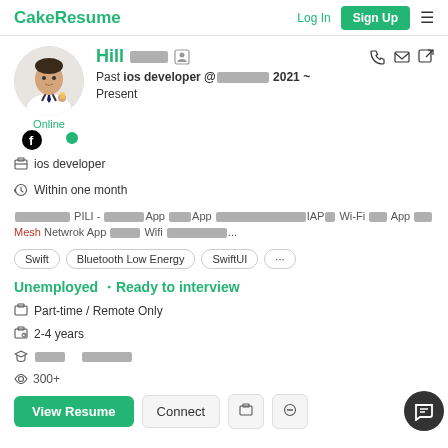CakeResume | Log In | Sign Up
[Figure (photo): Profile photo of Hill, a man in shirt and tie, circular avatar with green online dot]
Hill [redacted]
Past ios developer @[redacted] 2021 ~ Present
Online
ios developer
Within one month
[redacted] PILI - [redacted]App [redacted]App [redacted]IAP[redacted] Wi-Fi [redacted] App [redacted] Mesh Netwrok App [redacted] Wifi [redacted]...
Swift
Bluetooth Low Energy
SwiftUI
...
Unemployed・Ready to interview
Part-time / Remote Only
2-4 years
[redacted]
300+
View Resume | Connect